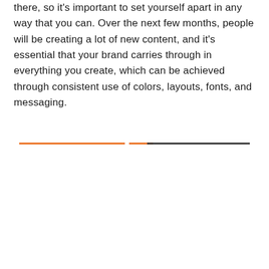there, so it's important to set yourself apart in any way that you can. Over the next few months, people will be creating a lot of new content, and it's essential that your brand carries through in everything you create, which can be achieved through consistent use of colors, layouts, fonts, and messaging.
[Figure (other): A decorative horizontal divider made of two colored lines: an orange line on the left half and a black line on the right half, with a short orange segment bridging them near the center.]